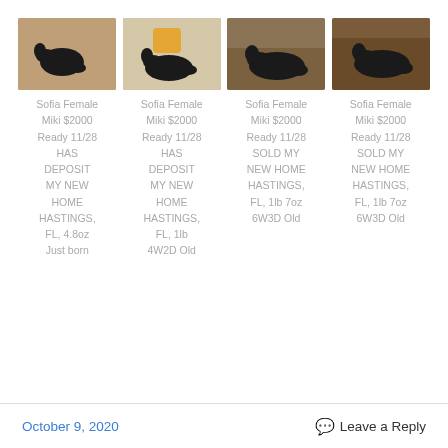[Figure (photo): Four photos of a small black puppy (Sofia Female Miki) in different settings on a rug or mat.]
Sofia Female
Miki $2000
Ready 11/28
HAS
DEPOSIT
MY NEW
HOME
HASTINGS,
FL, 4.8oz
Just born
Sofia Female
Miki $2000
Ready 11/28
HAS
DEPOSIT
MY NEW
HOME
HASTINGS,
FL, 1lb
4W2D Old
Sofia Female
Miki $2000
Ready 11/28
SOLD MY
NEW HOME
HASTINGS,
FL, 1lb 7oz
6W3D Old
Sofia Female
Miki $2000
Ready 11/28
SOLD MY
NEW HOME
HASTINGS,
FL, 1lb 7oz
6W3D Old
October 9, 2020   Leave a Reply